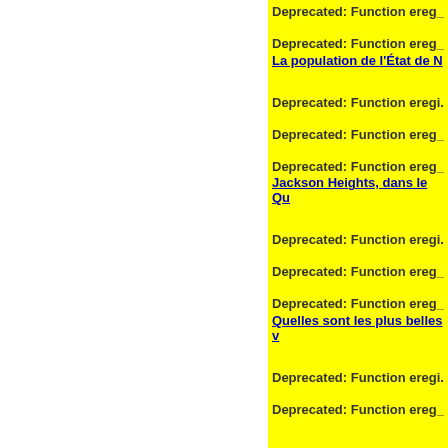Deprecated: Function ereg_
Deprecated: Function ereg_
La population de l'État de N
Deprecated: Function eregi.
Deprecated: Function ereg_
Deprecated: Function ereg_
Jackson Heights, dans le Qu
Deprecated: Function eregi.
Deprecated: Function ereg_
Deprecated: Function ereg_
Quelles sont les plus belles v
Deprecated: Function eregi.
Deprecated: Function ereg_